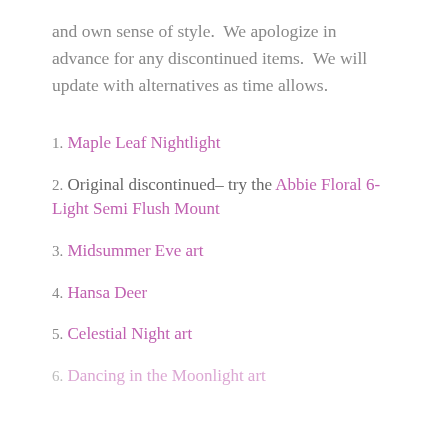and own sense of style.  We apologize in advance for any discontinued items.  We will update with alternatives as time allows.
1. Maple Leaf Nightlight
2. Original discontinued– try the Abbie Floral 6-Light Semi Flush Mount
3. Midsummer Eve art
4. Hansa Deer
5. Celestial Night art
6. Dancing in the Moonlight art